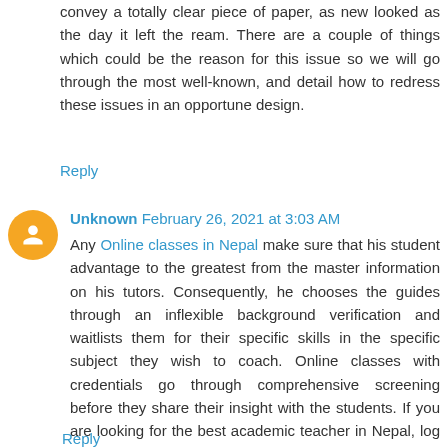convey a totally clear piece of paper, as new looked as the day it left the ream. There are a couple of things which could be the reason for this issue so we will go through the most well-known, and detail how to redress these issues in an opportune design.
Reply
Unknown February 26, 2021 at 3:03 AM
Any Online classes in Nepal make sure that his student advantage to the greatest from the master information on his tutors. Consequently, he chooses the guides through an inflexible background verification and waitlists them for their specific skills in the specific subject they wish to coach. Online classes with credentials go through comprehensive screening before they share their insight with the students. If you are looking for the best academic teacher in Nepal, log on to tutorstudy.com today.
Reply